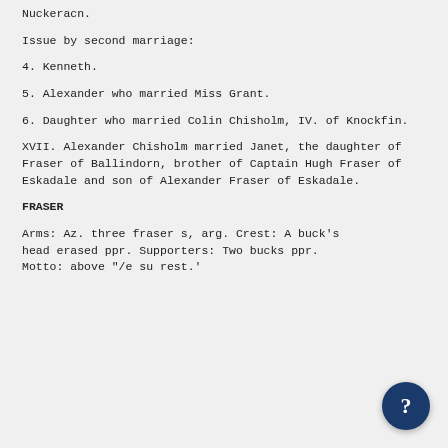Nuckeracn.
Issue by second marriage:
4. Kenneth.
5. Alexander who married Miss Grant.
6. Daughter who married Colin Chisholm, IV. of Knockfin.
XVII. Alexander Chisholm married Janet, the daughter of Fraser of Ballindorn, brother of Captain Hugh Fraser of Eskadale and son of Alexander Fraser of Eskadale.
FRASER
Arms: Az. three fraser s, arg. Crest: A buck's head erased ppr. Supporters: Two bucks ppr. Motto: above "/e su rest.'